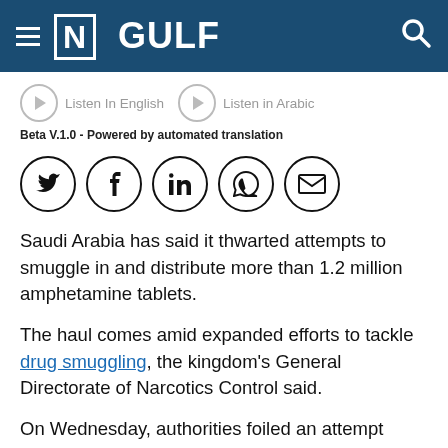[N] GULF
[Figure (other): Audio player buttons: Listen In English and Listen in Arabic with play icons, Beta V.1.0 - Powered by automated translation label]
[Figure (other): Social media share icons row: Twitter, Facebook, LinkedIn, WhatsApp, Email — each in a circle]
Saudi Arabia has said it thwarted attempts to smuggle in and distribute more than 1.2 million amphetamine tablets.
The haul comes amid expanded efforts to tackle drug smuggling, the kingdom's General Directorate of Narcotics Control said.
On Wednesday, authorities foiled an attempt